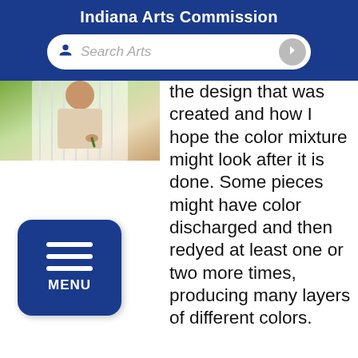Indiana Arts Commission
[Figure (screenshot): Search bar with microphone icon and Search Arts placeholder text]
[Figure (photo): Partial photo of a person working on textile/fabric art outdoors]
the design that was created and how I hope the color mixture might look after it is done. Some pieces might have color discharged and then redyed at least one or two more times, producing many layers of different colors. Although it is not your traditional art form, the patterns, lines, designs, and colors still accent the space to
[Figure (other): Blue rounded rectangle MENU button with three horizontal lines icon]